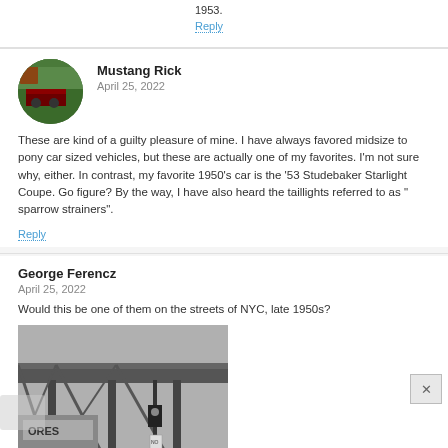1953.
Reply
Mustang Rick
April 25, 2022
These are kind of a guilty pleasure of mine. I have always favored midsize to pony car sized vehicles, but these are actually one of my favorites. I'm not sure why, either. In contrast, my favorite 1950's car is the '53 Studebaker Starlight Coupe. Go figure? By the way, I have also heard the taillights referred to as " sparrow strainers".
Reply
George Ferencz
April 25, 2022
Would this be one of them on the streets of NYC, late 1950s?
[Figure (photo): Black and white photograph of a street scene in NYC from the late 1950s, showing elevated train structure and storefronts including a sign reading ORES, with vintage cars visible.]